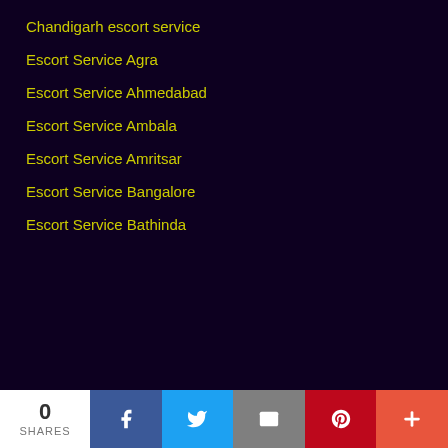Chandigarh escort service
Escort Service Agra
Escort Service Ahmedabad
Escort Service Ambala
Escort Service Amritsar
Escort Service Bangalore
Escort Service Bathinda
0 SHARES | Facebook | Twitter | Email | Pinterest | More